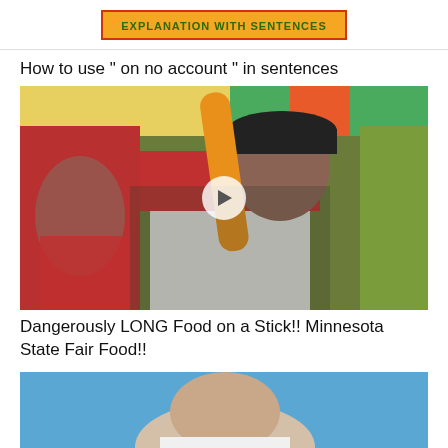[Figure (screenshot): Top banner with orange background and dark green bold text partially visible: 'EXPLANATION WITH SENTENCES']
How to use " on no account " in sentences
[Figure (photo): Person in red shirt and white apron holding a very long corn dog / food on a stick at what appears to be the Minnesota State Fair. A play button overlay is visible in the center.]
Dangerously LONG Food on a Stick!! Minnesota State Fair Food!!
[Figure (photo): Partially visible video thumbnail showing a person outdoors against a blue sky background.]